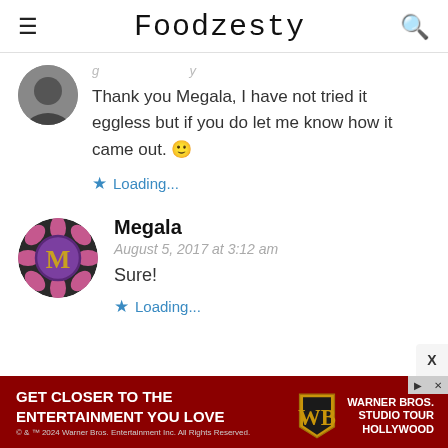Foodzesty
Thank you Megala, I have not tried it eggless but if you do let me know how it came out. 🙂
Loading...
Megala
August 5, 2017 at 3:12 am
Sure!
Loading...
[Figure (infographic): Warner Bros Studio Tour Hollywood advertisement banner with dark red background, WB shield logo, and text GET CLOSER TO THE ENTERTAINMENT YOU LOVE]